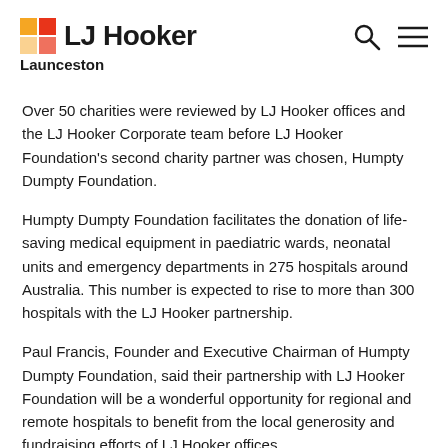LJ Hooker Launceston
Over 50 charities were reviewed by LJ Hooker offices and the LJ Hooker Corporate team before LJ Hooker Foundation's second charity partner was chosen, Humpty Dumpty Foundation.
Humpty Dumpty Foundation facilitates the donation of life-saving medical equipment in paediatric wards, neonatal units and emergency departments in 275 hospitals around Australia. This number is expected to rise to more than 300 hospitals with the LJ Hooker partnership.
Paul Francis, Founder and Executive Chairman of Humpty Dumpty Foundation, said their partnership with LJ Hooker Foundation will be a wonderful opportunity for regional and remote hospitals to benefit from the local generosity and fundraising efforts of LJ Hooker offices.